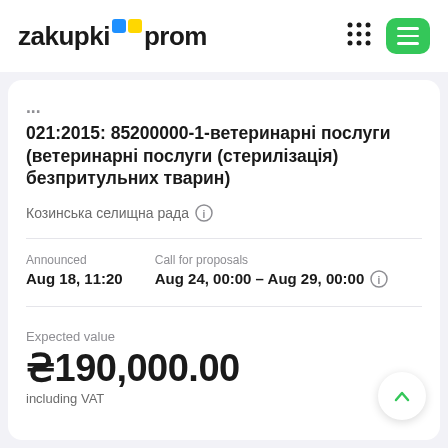zakupki prom
021:2015: 85200000-1-ветеринарні послуги (ветеринарні послуги (стерилізація) безпритульних тварин)
Козинська селищна рада
Announced: Aug 18, 11:20 | Call for proposals: Aug 24, 00:00 – Aug 29, 00:00
Expected value
₴190,000.00
including VAT